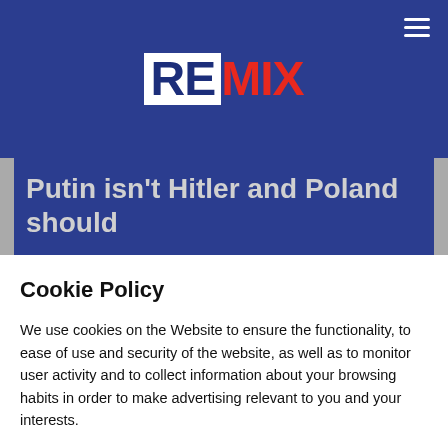REMIX
Putin isn't Hitler and Poland should
Cookie Policy
We use cookies on the Website to ensure the functionality, to ease of use and security of the website, as well as to monitor user activity and to collect information about your browsing habits in order to make advertising relevant to you and your interests.
Clicking on "Accept" you can allow all cookies. If you would like to reject or customize, please click on "Settings".
Read more: Cookie Policy
SETTINGS
ACCEPT